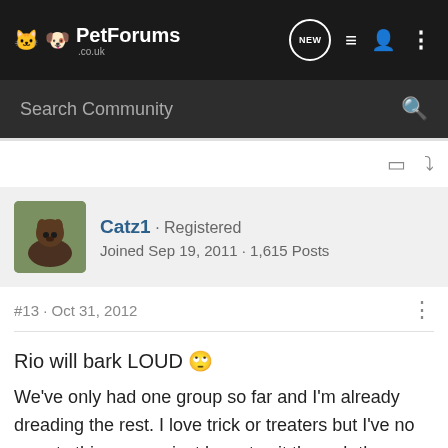PetForums.co.uk
Search Community
Catz1 · Registered
Joined Sep 19, 2011 · 1,615 Posts
#13 · Oct 31, 2012
Rio will bark LOUD 🙄
We've only had one group so far and I'm already dreading the rest. I love trick or treaters but I've no sweets this year so just have to sit through the constant knocking and woofing.